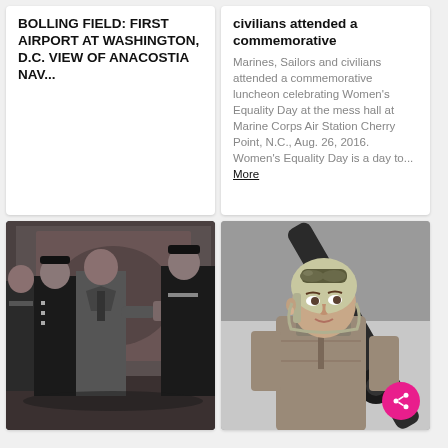BOLLING FIELD: FIRST AIRPORT AT WASHINGTON, D.C. VIEW OF ANACOSTIA NAV...
civilians attended a commemorative
Marines, Sailors and civilians attended a commemorative luncheon celebrating Women's Equality Day at the mess hall at Marine Corps Air Station Cherry Point, N.C., Aug. 26, 2016. Women's Equality Day is a day to... More
[Figure (photo): Black and white historical photo of military officers and a civilian man shaking hands or speaking in a formal indoor setting]
[Figure (photo): Black and white photo of a woman wearing an aviator helmet and flight jacket, standing near an airplane propeller, looking upward]